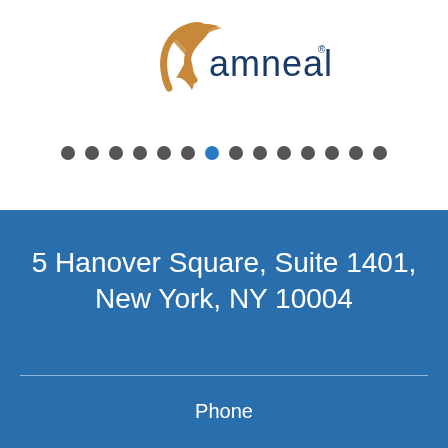[Figure (logo): Amneal Pharmaceuticals logo with stylized bird/swoosh graphic in brown/orange and the text 'amneal' in dark blue]
[Figure (infographic): A row of 14 navigation dots, with the 7th dot highlighted in blue and the rest in dark gray]
5 Hanover Square, Suite 1401, New York, NY 10004
Phone